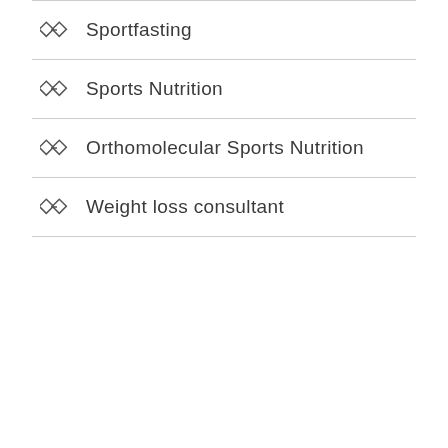Sportfasting
Sports Nutrition
Orthomolecular Sports Nutrition
Weight loss consultant